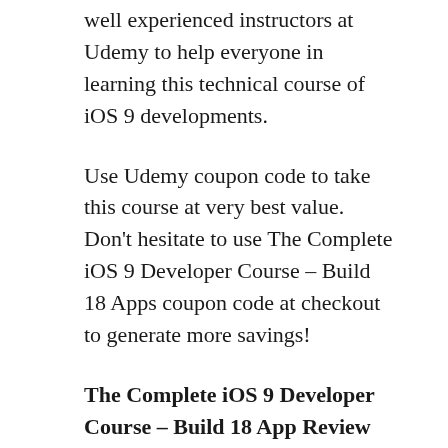well experienced instructors at Udemy to help everyone in learning this technical course of iOS 9 developments.
Use Udemy coupon code to take this course at very best value. Don't hesitate to use The Complete iOS 9 Developer Course – Build 18 Apps coupon code at checkout to generate more savings!
The Complete iOS 9 Developer Course – Build 18 App Review
Udemy is the world's learning place where all people can able to learn different technical courses, photography, yoga, and all other things in the best manner. The content...